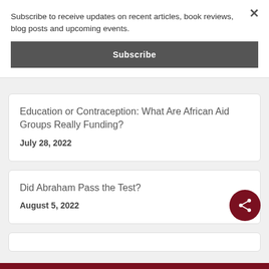Subscribe to receive updates on recent articles, book reviews, blog posts and upcoming events.
Subscribe
Education or Contraception: What Are African Aid Groups Really Funding?
July 28, 2022
Did Abraham Pass the Test?
August 5, 2022